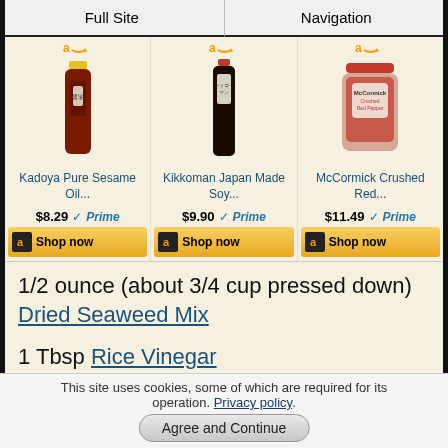Full Site | Navigation
[Figure (photo): Three Amazon product cards: Kadoya Pure Sesame Oil ($8.29, Prime), Kikkoman Japan Made Soy ($9.90, Prime), McCormick Crushed Red ($11.49, Prime), each with Shop now button]
1/2 ounce (about 3/4 cup pressed down) Dried Seaweed Mix
1 Tbsp Rice Vinegar
1 Tbsp Soy Sauce
This site uses cookies, some of which are required for its operation. Privacy policy. Agree and Continue